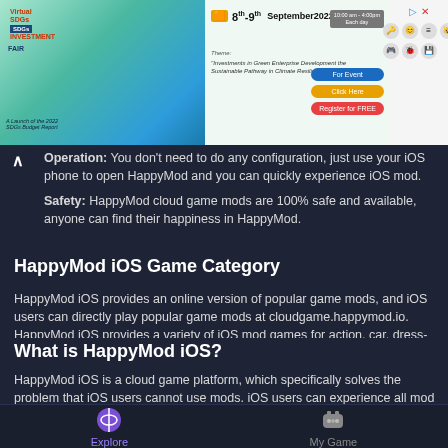[Figure (screenshot): Advertisement banner for SDGs Investment Fair, 8th-9th September 2022, 10:00am-4:00pm each day, with register and click now buttons.]
Operation: You don't need to do any configuration, just use your iOS phone to open HappyMod and you can quickly experience iOS mod.
Safety: HappyMod cloud game mods are 100% safe and available, anyone can find their happiness in HappyMod.
HappyMod iOS Game Category
HappyMod iOS provides an online version of popular game mods, and iOS users can directly play popular game mods at cloudgame.happymod.io. HappyMod iOS provides a variety of iOS mod games for action, car, dress-up, shooting, and puzzle solving. For example popular games: Minecraft iOS Mod, Stumble Guys iOS Mod. You can start the mod experience at cloudgame.happymod.io without downloading. HappyMod iOS is the best mod choice for iOS device users.
What is HappyMod iOS?
HappyMod iOS is a cloud game platform, which specifically solves the problem that iOS users cannot use mods. iOS users can experience all mod
Explore   My Game